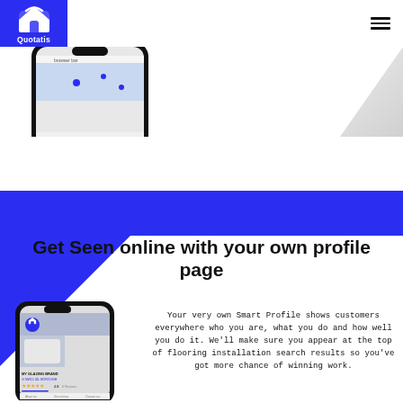[Figure (logo): Quotatis logo: white house icon on blue background with text Quotatis]
[Figure (screenshot): Top portion of a mobile phone showing a browser or app screenshot with a map and navigation elements]
[Figure (illustration): Blue geometric section background with triangle shape]
Get Seen online with your own profile page
[Figure (screenshot): Mobile phone mockup showing a Quotatis Smart Profile page for MY GLAZING BRAND with star rating 4.8 and several reviews]
Your very own Smart Profile shows customers everywhere who you are, what you do and how well you do it. We'll make sure you appear at the top of flooring installation search results so you've got more chance of winning work.